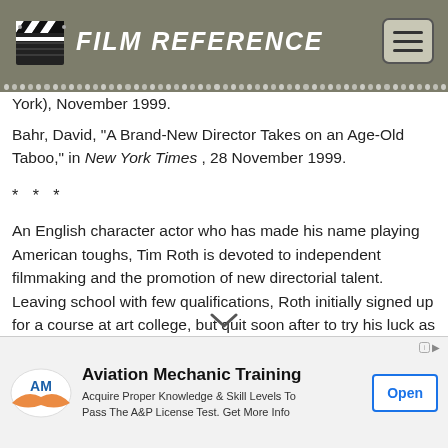FILM REFERENCE
York), November 1999.
Bahr, David, "A Brand-New Director Takes on an Age-Old Taboo," in New York Times , 28 November 1999.
* * *
An English character actor who has made his name playing American toughs, Tim Roth is devoted to independent filmmaking and the promotion of new directorial talent. Leaving school with few qualifications, Roth initially signed up for a course at art college, but quit soon after to try his luck as an actor, despite having no formal training. By attending auditions whenever they were advertised in the trade papers, with the help of bar-work and "dole" money when he was employed, Roth managed to establish himself as a stage...
[Figure (other): Advertisement for Aviation Mechanic Training by AM institution. Tagline: Acquire Proper Knowledge & Skill Levels To Pass The A&P License Test. Get More Info. Open button.]